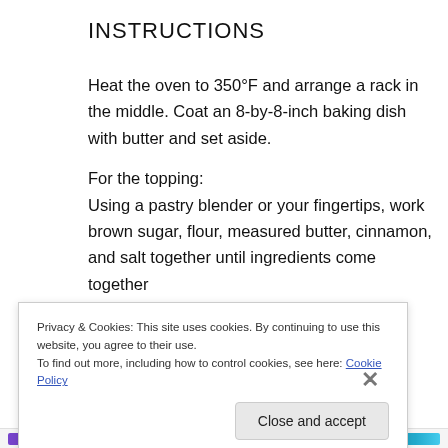INSTRUCTIONS
Heat the oven to 350°F and arrange a rack in the middle. Coat an 8-by-8-inch baking dish with butter and set aside.
For the topping:
Using a pastry blender or your fingertips, work brown sugar, flour, measured butter, cinnamon, and salt together until ingredients come together
Privacy & Cookies: This site uses cookies. By continuing to use this website, you agree to their use.
To find out more, including how to control cookies, see here: Cookie Policy
Close and accept